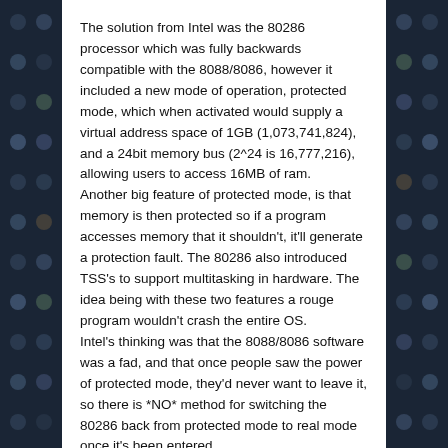The solution from Intel was the 80286 processor which was fully backwards compatible with the 8088/8086, however it included a new mode of operation, protected mode, which when activated would supply a virtual address space of 1GB (1,073,741,824), and a 24bit memory bus (2^24 is 16,777,216), allowing users to access 16MB of ram.
Another big feature of protected mode, is that memory is then protected so if a program accesses memory that it shouldn't, it'll generate a protection fault. The 80286 also introduced TSS's to support multitasking in hardware. The idea being with these two features a rouge program wouldn't crash the entire OS.
Intel's thinking was that the 8088/8086 software was a fad, and that once people saw the power of protected mode, they'd never want to leave it, so there is *NO* method for switching the 80286 back from protected mode to real mode once it's been entered.